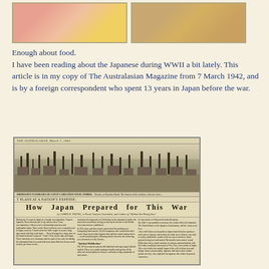[Figure (photo): Two photographs at the top of the page — left shows colorful food items (red/pink and yellow), right shows a close-up of food with brownish tones.]
Enough about food.
I have been reading about the Japanese during WWII a bit lately. This article is in my copy of The Australasian Magazine from 7 March 1942, and is by a foreign correspondent who spent 13 years in Japan before the war.
[Figure (photo): Scanned page from The Australasian magazine, March 7, 1942, showing a panoramic photograph of Japan's greatest steel works with factories and smokestacks, and the article headline 'How Japan Prepared for This War' by James R. Young, a Naval Analysis Journalist and Author of 'Behind the Rising Sun.' The article text appears in multiple columns below the headline.]